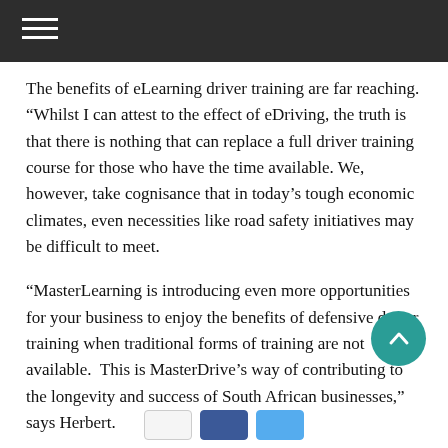The benefits of eLearning driver training are far reaching. “Whilst I can attest to the effect of eDriving, the truth is that there is nothing that can replace a full driver training course for those who have the time available. We, however, take cognisance that in today’s tough economic climates, even necessities like road safety initiatives may be difficult to meet.
“MasterLearning is introducing even more opportunities for your business to enjoy the benefits of defensive driver training when traditional forms of training are not available.  This is MasterDrive’s way of contributing to the longevity and success of South African businesses,” says Herbert.
CAPTION: e-Learning on a Tablet. Picture: Kaboom Pics